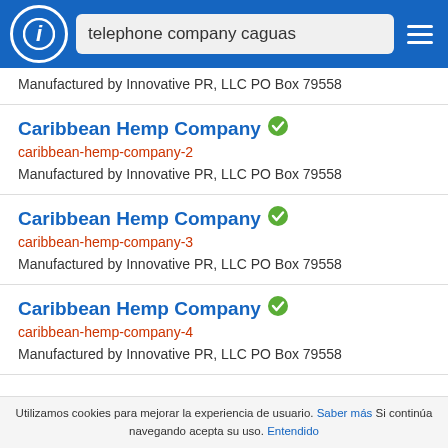telephone company caguas
Manufactured by Innovative PR, LLC PO Box 79558
Caribbean Hemp Company
caribbbean-hemp-company-2
Manufactured by Innovative PR, LLC PO Box 79558
Caribbean Hemp Company
caribbbean-hemp-company-3
Manufactured by Innovative PR, LLC PO Box 79558
Caribbean Hemp Company
caribbbean-hemp-company-4
Manufactured by Innovative PR, LLC PO Box 79558
Utilizamos cookies para mejorar la experiencia de usuario. Saber más Si continúa navegando acepta su uso. Entendido